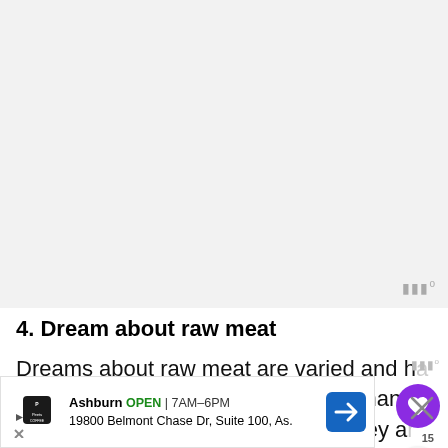[Figure (other): Large light gray placeholder image/advertisement area at the top of the page]
4. Dream about raw meat
Dreams about raw meat are varied and have diverse interpretations as well. Pregnant women may dream of raw meat if they are scared of something from toxin.